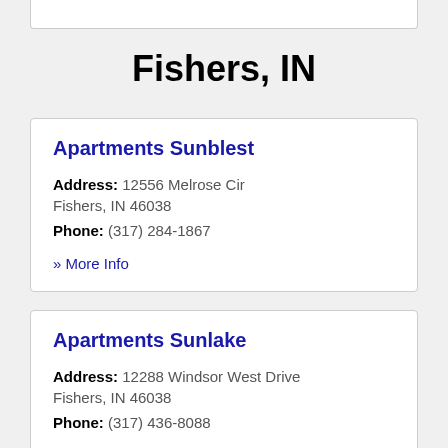Fishers, IN
Apartments Sunblest
Address: 12556 Melrose Cir Fishers, IN 46038
Phone: (317) 284-1867
» More Info
Apartments Sunlake
Address: 12288 Windsor West Drive Fishers, IN 46038
Phone: (317) 436-8088